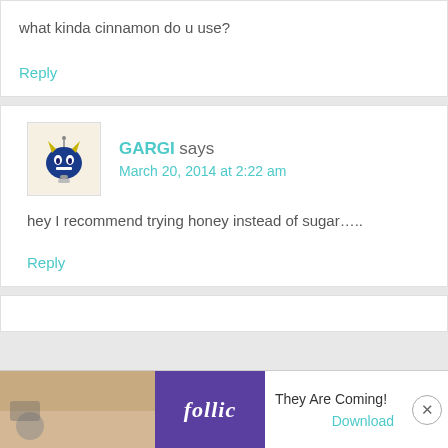what kinda cinnamon do u use?
Reply
GARGI says
March 20, 2014 at 2:22 am
hey I recommend trying honey instead of sugar…..
Reply
[Figure (screenshot): Ad banner for Rollic game 'They Are Coming!' with download button]